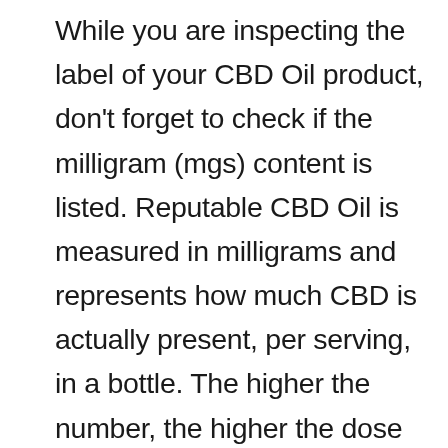While you are inspecting the label of your CBD Oil product, don't forget to check if the milligram (mgs) content is listed. Reputable CBD Oil is measured in milligrams and represents how much CBD is actually present, per serving, in a bottle. The higher the number, the higher the dose of CBD, and it is important to have this information in order to know how to properly dose your cat. If your label does